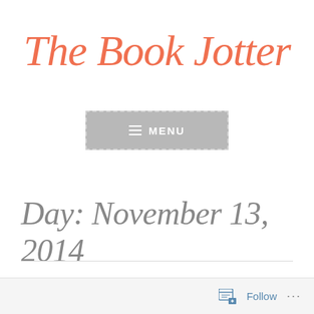The Book Jotter
[Figure (other): Menu navigation button with hamburger icon and MENU text on grey background with dashed border]
Day: November 13, 2014
Follow ...